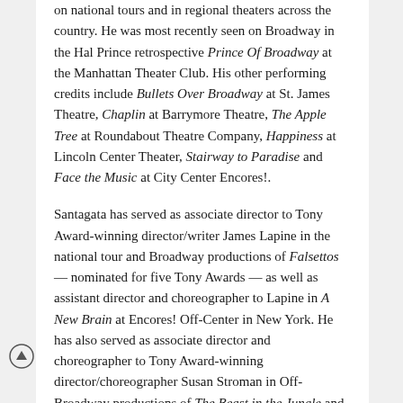on national tours and in regional theaters across the country. He was most recently seen on Broadway in the Hal Prince retrospective Prince Of Broadway at the Manhattan Theater Club. His other performing credits include Bullets Over Broadway at St. James Theatre, Chaplin at Barrymore Theatre, The Apple Tree at Roundabout Theatre Company, Happiness at Lincoln Center Theater, Stairway to Paradise and Face the Music at City Center Encores!.
Santagata has served as associate director to Tony Award-winning director/writer James Lapine in the national tour and Broadway productions of Falsettos — nominated for five Tony Awards — as well as assistant director and choreographer to Lapine in A New Brain at Encores! Off-Center in New York. He has also served as associate director and choreographer to Tony Award-winning director/choreographer Susan Stroman in Off-Broadway productions of The Beast in the Jungle and Dot at Vineyard Theatre as well as Broadway productions of The Scottsboro Boys, which received 12 Tony Award nominations, seven Olivier Award Nominations and the Ned Sherrin Award for